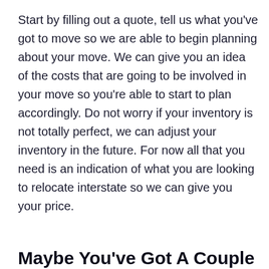Start by filling out a quote, tell us what you've got to move so we are able to begin planning about your move. We can give you an idea of the costs that are going to be involved in your move so you're able to start to plan accordingly. Do not worry if your inventory is not totally perfect, we can adjust your inventory in the future. For now all that you need is an indication of what you are looking to relocate interstate so we can give you your price.
Maybe You've Got A Couple